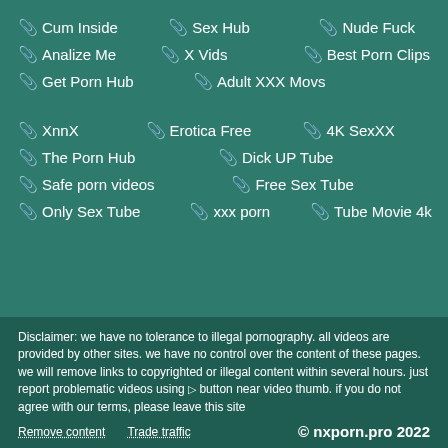Cum Inside
Sex Hub
Nude Fuck
Analize Me
X Vids
Best Porn Clips
Get Porn Hub
Adult XXX Movs
XnnX
Erotica Free
4K SexXX
The Porn Hub
Dick UP Tube
Safe porn videos
Free Sex Tube
Only Sex Tube
xxx porn
Tube Movie 4k
Disclaimer: we have no tolerance to illegal pornography. all videos are provided by other sites. we have no control over the content of these pages. we will remove links to copyrighted or illegal content within several hours. just report problematic videos using ► button near video thumb. if you do not agree with our terms, please leave this site
Remove content   Trade traffic   © nxporn.pro 2022